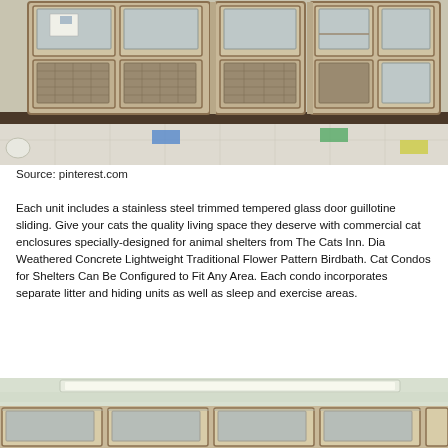[Figure (photo): Animal shelter cat enclosure units — rows of beige/tan modular cat condo units with glass and mesh doors mounted against a wall, with a tiled floor visible below showing colored tape markers]
Source: pinterest.com
Each unit includes a stainless steel trimmed tempered glass door guillotine sliding. Give your cats the quality living space they deserve with commercial cat enclosures specially-designed for animal shelters from The Cats Inn. Dia Weathered Concrete Lightweight Traditional Flower Pattern Birdbath. Cat Condos for Shelters Can Be Configured to Fit Any Area. Each condo incorporates separate litter and hiding units as well as sleep and exercise areas.
[Figure (photo): Another row of animal shelter cat enclosure units — stainless steel trimmed cat condo units at bottom of image with bright fluorescent lighting visible above]